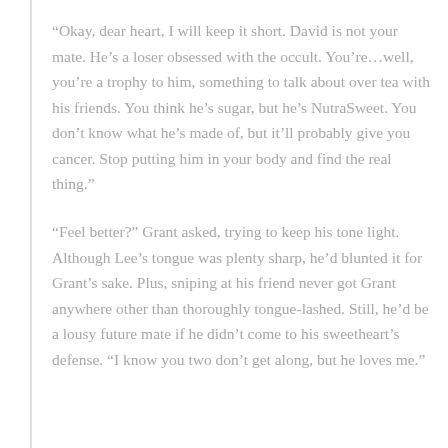“Okay, dear heart, I will keep it short. David is not your mate. He’s a loser obsessed with the occult. You’re…well, you’re a trophy to him, something to talk about over tea with his friends. You think he’s sugar, but he’s NutraSweet. You don’t know what he’s made of, but it’ll probably give you cancer. Stop putting him in your body and find the real thing.”
“Feel better?” Grant asked, trying to keep his tone light. Although Lee’s tongue was plenty sharp, he’d blunted it for Grant’s sake. Plus, sniping at his friend never got Grant anywhere other than thoroughly tongue-lashed. Still, he’d be a lousy future mate if he didn’t come to his sweetheart’s defense. “I know you two don’t get along, but he loves me.”